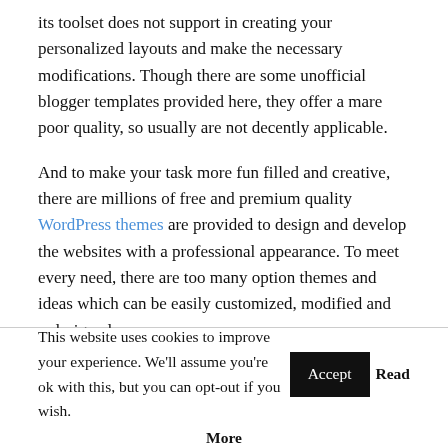its toolset does not support in creating your personalized layouts and make the necessary modifications. Though there are some unofficial blogger templates provided here, they offer a mare poor quality, so usually are not decently applicable.
And to make your task more fun filled and creative, there are millions of free and premium quality WordPress themes are provided to design and develop the websites with a professional appearance. To meet every need, there are too many option themes and ideas which can be easily customized, modified and redesigned.
(Blogger vs WordPress): Flexibility
This website uses cookies to improve your experience. We'll assume you're ok with this, but you can opt-out if you wish. Accept Read More